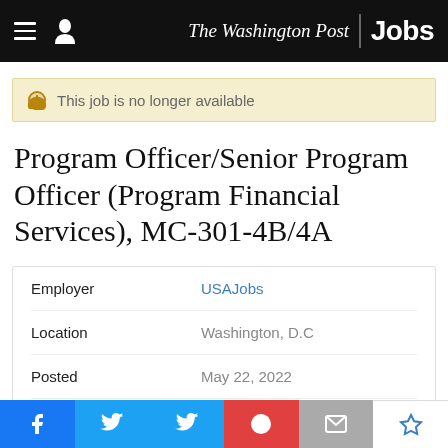The Washington Post Jobs
This job is no longer available
Program Officer/Senior Program Officer (Program Financial Services), MC-301-4B/4A
| Field | Value |
| --- | --- |
| Employer | USAJobs |
| Location | Washington, D.C |
| Posted | May 22, 2022 |
| Closes | May 23, 2022 |